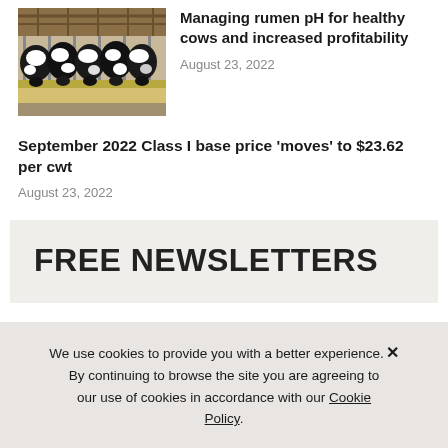[Figure (photo): Holstein dairy cows feeding on hay/silage in a barn with stanchions]
Managing rumen pH for healthy cows and increased profitability
August 23, 2022
September 2022 Class I base price 'moves' to $23.62 per cwt
August 23, 2022
FREE NEWSLETTERS
We use cookies to provide you with a better experience. ✕ By continuing to browse the site you are agreeing to our use of cookies in accordance with our Cookie Policy.